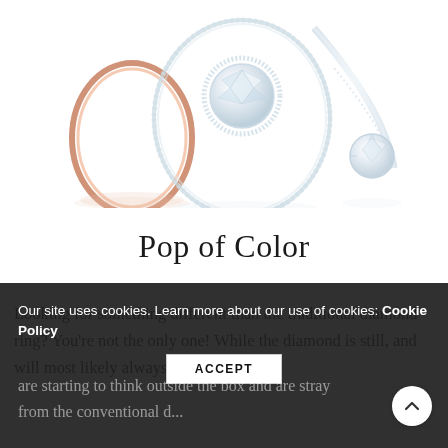[Figure (photo): Three diamond rings arranged together: a rose gold plain band, a large silver halo diamond ring, and a silver solitaire diamond engagement ring, photographed on white background with reflections.]
Pop of Color
Looking for something different than the traditional diamond ring? You're not the only one! While the diamond is still, and will most likely always be, the most
Our site uses cookies. Learn more about our use of cookies: Cookie Policy
are starting to think outside the box and are straying from the conventional d...